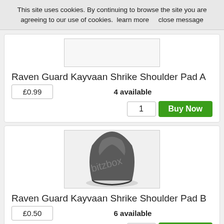This site uses cookies. By continuing to browse the site you are agreeing to our use of cookies.  learn more      close message
[Figure (other): Product image placeholder for Raven Guard Kayvaan Shrike Shoulder Pad A (empty box, product cropped off top)]
Raven Guard Kayvaan Shrike Shoulder Pad A
£0.99
4 available
1
Buy Now
[Figure (photo): Photo of a dark grey Space Marine shoulder pad (Raven Guard Kayvaan Shrike Shoulder Pad B) with a bitzbox watermark overlay]
Raven Guard Kayvaan Shrike Shoulder Pad B
£0.50
6 available